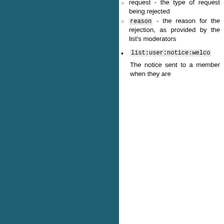request - the type of request being rejected
reason - the reason for the rejection, as provided by the list's moderators
list:user:notice:welco... The notice sent to a member when they are